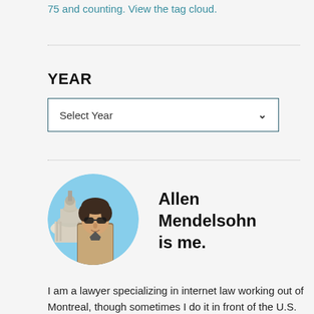75 and counting. View the tag cloud.
YEAR
[Figure (other): A dropdown selector box with placeholder text 'Select Year' and a chevron/arrow pointing down on the right side, styled with a teal border.]
[Figure (photo): Circular profile photo of Allen Mendelsohn, a man wearing sunglasses standing in front of the U.S. Capitol building under a blue sky.]
Allen Mendelsohn is me.
I am a lawyer specializing in internet law working out of Montreal, though sometimes I do it in front of the U.S.